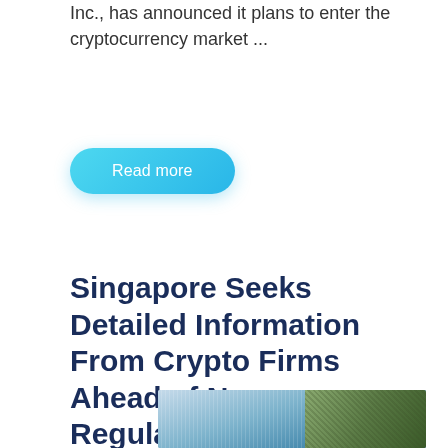Inc., has announced it plans to enter the cryptocurrency market ...
[Figure (other): Cyan/light blue rounded pill button labeled 'Read more']
Singapore Seeks Detailed Information From Crypto Firms Ahead of New Regulations, Report Unveils – Regulation Bitcoin News
[Figure (photo): Partial image of tall buildings / skyscrapers with what appears to be tropical foliage on the right side]